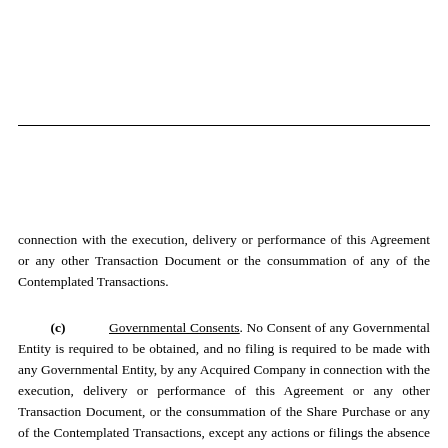connection with the execution, delivery or performance of this Agreement or any other Transaction Document or the consummation of any of the Contemplated Transactions.
(c) Governmental Consents. No Consent of any Governmental Entity is required to be obtained, and no filing is required to be made with any Governmental Entity, by any Acquired Company in connection with the execution, delivery or performance of this Agreement or any other Transaction Document, or the consummation of the Share Purchase or any of the Contemplated Transactions, except any actions or filings the absence of which would not, individually or in the